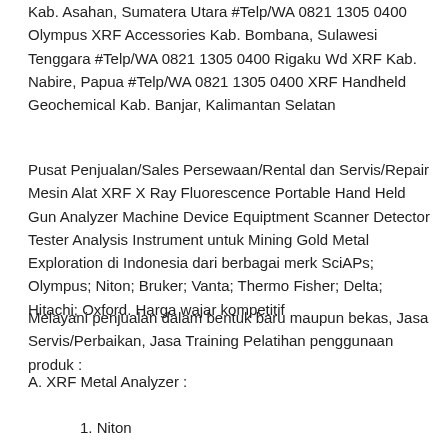Kab. Asahan, Sumatera Utara #Telp/WA 0821 1305 0400 Olympus XRF Accessories Kab. Bombana, Sulawesi Tenggara #Telp/WA 0821 1305 0400 Rigaku Wd XRF Kab. Nabire, Papua #Telp/WA 0821 1305 0400 XRF Handheld Geochemical Kab. Banjar, Kalimantan Selatan
Pusat Penjualan/Sales Persewaan/Rental dan Servis/Repair Mesin Alat XRF X Ray Fluorescence Portable Hand Held Gun Analyzer Machine Device Equiptment Scanner Detector Tester Analysis Instrument untuk Mining Gold Metal Exploration di Indonesia dari berbagai merk SciAPs; Olympus; Niton; Bruker; Vanta; Thermo Fisher; Delta; Hitachi; Oxford. Harga wajar kompetitif
Melayani penjualan dalam bentuk baru maupun bekas, Jasa Servis/Perbaikan, Jasa Training Pelatihan penggunaan produk :
A. XRF Metal Analyzer :
1. Niton